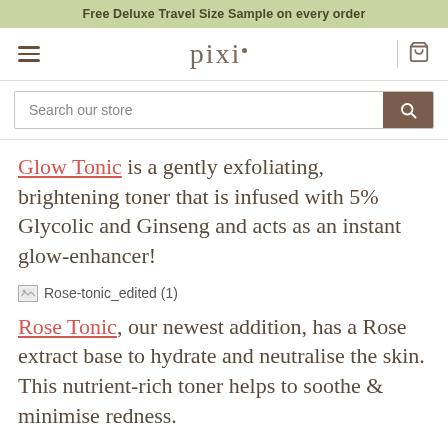Free Deluxe Travel Size Sample on every order
[Figure (logo): Pixi beauty brand logo with hamburger menu and cart icon navigation bar]
Search our store
Glow Tonic is a gently exfoliating, brightening toner that is infused with 5% Glycolic and Ginseng and acts as an instant glow-enhancer!
[Figure (photo): Broken image placeholder: Rose-tonic_edited (1)]
Rose Tonic, our newest addition, has a Rose extract base to hydrate and neutralise the skin. This nutrient-rich toner helps to soothe & minimise redness.